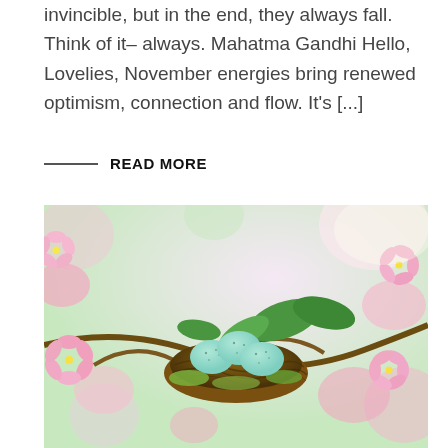invincible, but in the end, they always fall. Think of it– always. Mahatma Gandhi Hello, Lovelies, November energies bring renewed optimism, connection and flow. It's [...]
READ MORE
[Figure (photo): A bird's nest with three light blue speckled eggs, nestled among pink cherry blossoms and green leaves on a tree branch. The background is softly blurred with pink flowers and green foliage.]